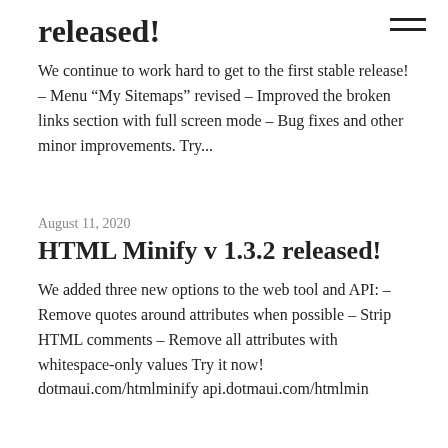released!
We continue to work hard to get to the first stable release! – Menu “My Sitemaps” revised – Improved the broken links section with full screen mode – Bug fixes and other minor improvements. Try...
August 11, 2020
HTML Minify v 1.3.2 released!
We added three new options to the web tool and API: – Remove quotes around attributes when possible – Strip HTML comments – Remove all attributes with whitespace-only values Try it now! dotmaui.com/htmlminify api.dotmaui.com/htmlmin